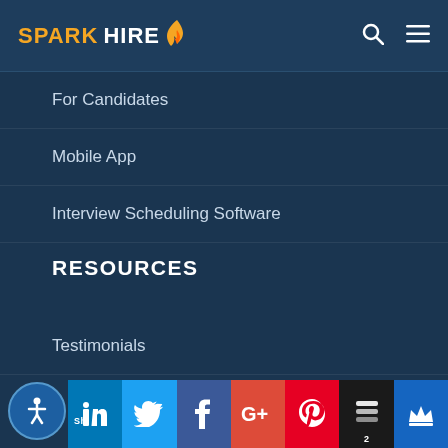SPARK HIRE
For Candidates
Mobile App
Interview Scheduling Software
RESOURCES
Testimonials
Case Studies
Resources
[Figure (screenshot): Social media share bar at bottom with LinkedIn, Twitter, Facebook, Google+, Pinterest, Buffer (count: 2), and King social icons. Accessibility button on bottom left.]